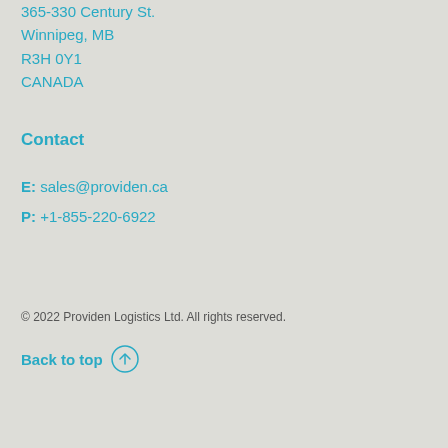365-330 Century St.
Winnipeg, MB
R3H 0Y1
CANADA
Contact
E: sales@providen.ca
P: +1-855-220-6922
© 2022 Providen Logistics Ltd. All rights reserved.
Back to top ↑